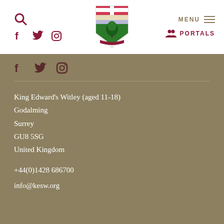Navigation header with search, social icons (Facebook, Twitter, Instagram), school crest logo, MENU, and PORTALS
[Figure (logo): King Edward's Witley school crest/shield logo with red cross, tree, and banner]
Social icons: Facebook, Twitter, Instagram
King Edward's Witley (aged 11-18)
Godalming
Surrey
GU8 5SG
United Kingdom
+44(0)1428 686700
info@kesw.org